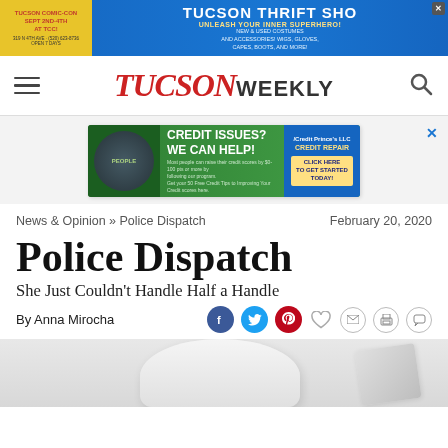[Figure (infographic): Tucson Comic-Con and Tucson Thrift Shop advertisement banner at top of page]
TUCSON WEEKLY
[Figure (infographic): Credit Issues? We Can Help! Credit repair advertisement banner]
News & Opinion » Police Dispatch    February 20, 2020
Police Dispatch
She Just Couldn't Handle Half a Handle
By Anna Mirocha
[Figure (photo): Partial photo of a white toilet showing the lid area against a light background]